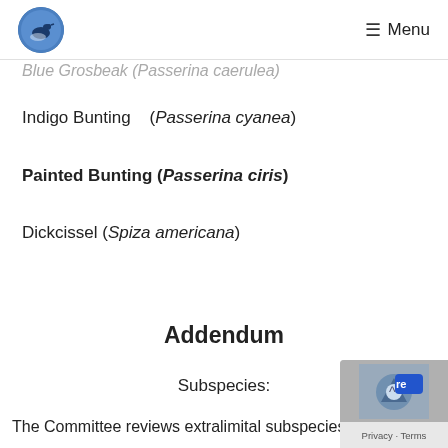Menu
Blue Grosbeak (Passerina caerulea)
Indigo Bunting   (Passerina cyanea)
Painted Bunting (Passerina ciris)
Dickcissel (Spiza americana)
Addendum
Subspecies:
The Committee reviews extralimital subspecies